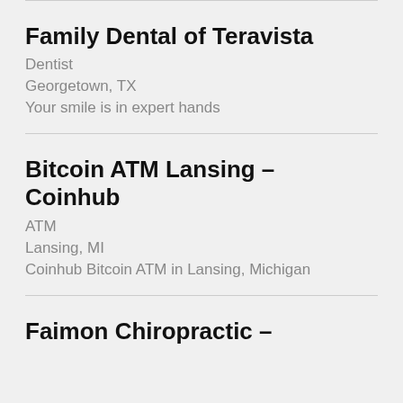Family Dental of Teravista
Dentist
Georgetown, TX
Your smile is in expert hands
Bitcoin ATM Lansing – Coinhub
ATM
Lansing, MI
Coinhub Bitcoin ATM in Lansing, Michigan
Faimon Chiropractic –